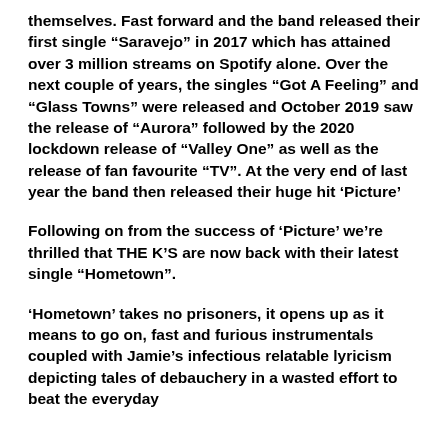themselves. Fast forward and the band released their first single “Saravejo” in 2017 which has attained over 3 million streams on Spotify alone. Over the next couple of years, the singles “Got A Feeling” and “Glass Towns” were released and October 2019 saw the release of “Aurora” followed by the 2020 lockdown release of “Valley One” as well as the release of fan favourite “TV”. At the very end of last year the band then released their huge hit ‘Picture’
Following on from the success of ‘Picture’ we’re thrilled that THE K’S are now back with their latest single “Hometown”.
‘Hometown’ takes no prisoners, it opens up as it means to go on, fast and furious instrumentals coupled with Jamie’s infectious relatable lyricism depicting tales of debauchery in a wasted effort to beat the everyday